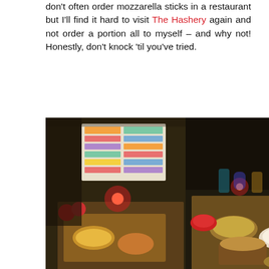don't often order mozzarella sticks in a restaurant but I'll find it hard to visit The Hashery again and not order a portion all to myself – and why not! Honestly, don't knock 'til you've tried.
[Figure (photo): Two side-by-side food photos from The Hashery restaurant showing a table with various dishes, drinks, colorful menus visible in background, dimly lit restaurant setting]
Next newbie on the menu: due to the incredible success of the courgette fries on The Hashery's original menu, they've introduced pickle fries in order to revamp (and reuse, reducing waste) the humble pickle so many of us overlook and/or carefully pick out of a burger. Some weren't so keen on this idea, but having given them a go I can